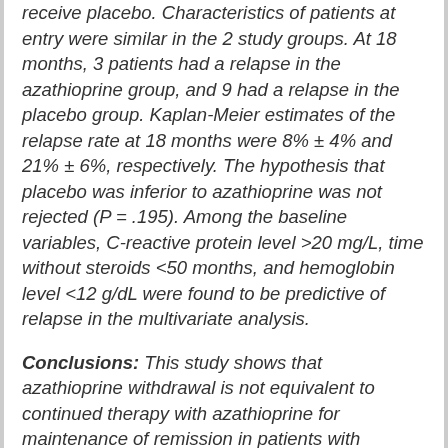receive placebo. Characteristics of patients at entry were similar in the 2 study groups. At 18 months, 3 patients had a relapse in the azathioprine group, and 9 had a relapse in the placebo group. Kaplan-Meier estimates of the relapse rate at 18 months were 8% ± 4% and 21% ± 6%, respectively. The hypothesis that placebo was inferior to azathioprine was not rejected (P = .195). Among the baseline variables, C-reactive protein level >20 mg/L, time without steroids <50 months, and hemoglobin level <12 g/dL were found to be predictive of relapse in the multivariate analysis.
Conclusions: This study shows that azathioprine withdrawal is not equivalent to continued therapy with azathioprine for maintenance of remission in patients with Crohn's disease who have been in remission on azathioprine for ≥3.5 years.